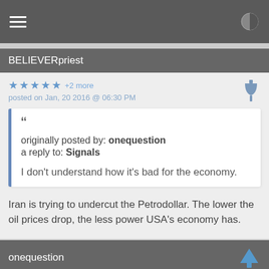menu and contrast icons
BELIEVERpriest
★ ★ ★ ★ ★ +2 more
posted on Jan, 20 2016 @ 06:30 PM
originally posted by: onequestion
a reply to: Signals

I don't understand how it's bad for the economy.
Iran is trying to undercut the Petrodollar. The lower the oil prices drop, the less power USA's economy has.
onequestion